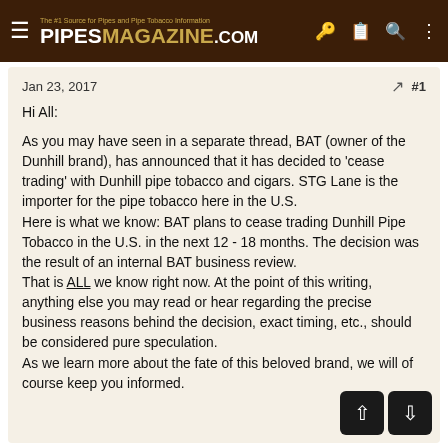The #1 Source for Pipes and Pipe Tobacco Information — PIPESMAGAZINE.COM
Jan 23, 2017
#1
Hi All:
As you may have seen in a separate thread, BAT (owner of the Dunhill brand), has announced that it has decided to 'cease trading' with Dunhill pipe tobacco and cigars. STG Lane is the importer for the pipe tobacco here in the U.S.
Here is what we know: BAT plans to cease trading Dunhill Pipe Tobacco in the U.S. in the next 12 - 18 months. The decision was the result of an internal BAT business review.
That is ALL we know right now. At the point of this writing, anything else you may read or hear regarding the precise business reasons behind the decision, exact timing, etc., should be considered pure speculation.
As we learn more about the fate of this beloved brand, we will of course keep you informed.